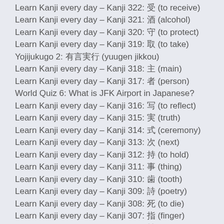Learn Kanji every day – Kanji 322: 受 (to receive)
Learn Kanji every day – Kanji 321: 酒 (alcohol)
Learn Kanji every day – Kanji 320: 守 (to protect)
Learn Kanji every day – Kanji 319: 取 (to take)
Yojijukugo 2: 有言実行 (yuugen jikkou)
Learn Kanji every day – Kanji 318: 主 (main)
Learn Kanji every day – Kanji 317: 者 (person)
World Quiz 6: What is JFK Airport in Japanese?
Learn Kanji every day – Kanji 316: 写 (to reflect)
Learn Kanji every day – Kanji 315: 実 (truth)
Learn Kanji every day – Kanji 314: 式 (ceremony)
Learn Kanji every day – Kanji 313: 次 (next)
Learn Kanji every day – Kanji 312: 持 (to hold)
Learn Kanji every day – Kanji 311: 事 (thing)
Learn Kanji every day – Kanji 310: 歯 (tooth)
Learn Kanji every day – Kanji 309: 詩 (poetry)
Learn Kanji every day – Kanji 308: 死 (to die)
Learn Kanji every day – Kanji 307: 指 (finger)
Learn Kanji every day – Kanji 306: 始 (to begin)
Learn Kanji every day – Kanji 305: 使 (to use)
Learn Kanji every day – Kanji 304: 仕 (to serve)